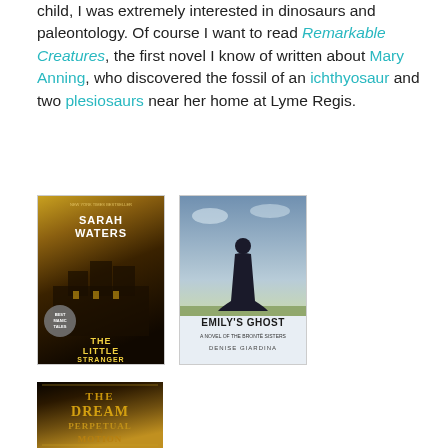child, I was extremely interested in dinosaurs and paleontology. Of course I want to read Remarkable Creatures, the first novel I know of written about Mary Anning, who discovered the fossil of an ichthyosaur and two plesiosaurs near her home at Lyme Regis.
[Figure (photo): Book cover of 'The Little Stranger' by Sarah Waters — dark gothic cover with a mansion at night, golden/amber tones]
[Figure (photo): Book cover of 'Emily's Ghost' — a woman in Victorian dress seen from behind against an open sky and prairie landscape, light blue tones]
[Figure (photo): Book cover of 'The Dream of Perpetual Motion' — ornate golden Art Deco lettering on dark background]